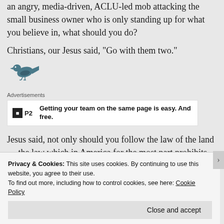an angry, media-driven, ACLU-led mob attacking the small business owner who is only standing up for what you believe in, what should you do?
Christians, our Jesus said, “Go with them two.”
[Figure (illustration): Small bird icon/logo in dark teal color]
Advertisements
[Figure (other): P2 advertisement: Getting your team on the same page is easy. And free.]
Jesus said, not only should you follow the law of the land — the law which in America for the most part prohibits discrimination against people
Privacy & Cookies: This site uses cookies. By continuing to use this website, you agree to their use.
To find out more, including how to control cookies, see here: Cookie Policy
Close and accept